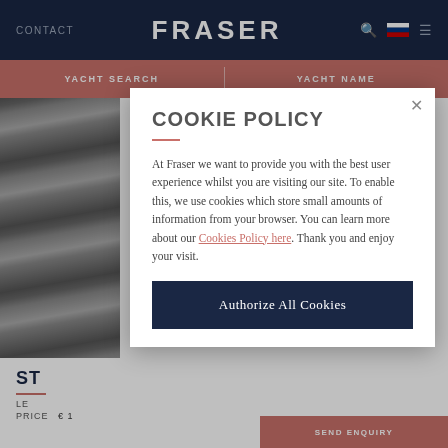CONTACT | FRASER | Search | Flag | Menu
YACHT SEARCH | YACHT NAME
COOKIE POLICY
At Fraser we want to provide you with the best user experience whilst you are visiting our site. To enable this, we use cookies which store small amounts of information from your browser. You can learn more about our Cookies Policy here. Thank you and enjoy your visit.
Authorize All Cookies
ST
LENGTH
PRICE € 1